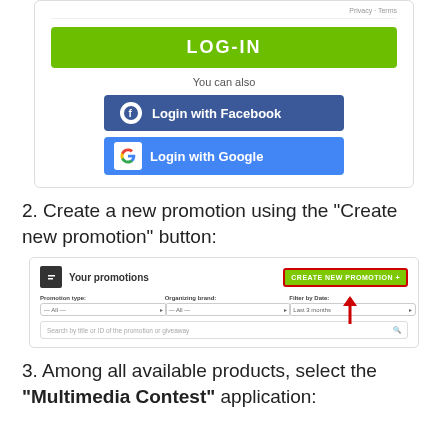[Figure (screenshot): Login card showing LOG-IN button, Login with Facebook button, and Login with Google button]
2. Create a new promotion using the "Create new promotion" button:
[Figure (screenshot): Screenshot of 'Your promotions' page with a red arrow pointing to the 'CREATE NEW PROMOTION +' button]
3. Among all available products, select the "Multimedia Contest" application: